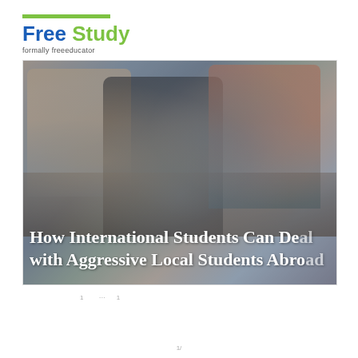[Figure (logo): Free Study logo with green bar on top, 'Free Study' in blue and green text, subtitle 'formally freeeducator']
[Figure (photo): Students studying/sleeping at desks in a classroom setting, with overlaid text title about international students dealing with aggressive local students abroad]
How International Students Can Deal with Aggressive Local Students Abroad